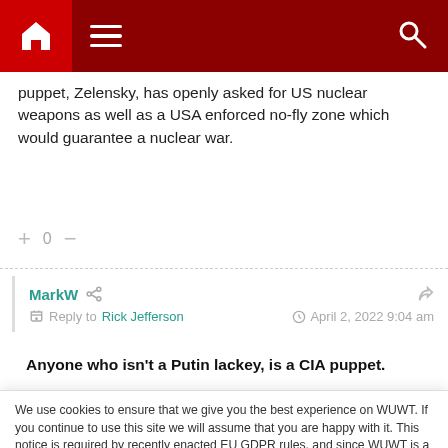Navigation bar with home, menu, and search icons
puppet, Zelensky, has openly asked for US nuclear weapons as well as a USA enforced no-fly zone which would guarantee a nuclear war.
+ 0 −
MarkW
Reply to Rick Jefferson   April 2, 2022 9:04 am
Anyone who isn't a Putin lackey, is a CIA puppet.
We use cookies to ensure that we give you the best experience on WUWT. If you continue to use this site we will assume that you are happy with it. This notice is required by recently enacted EU GDPR rules, and since WUWT is a globally read website, we need to keep the bureaucrats off our case! Cookie Policy
Close and accept
given back to Russia. Obama guaranteed Ukraine sovereignty